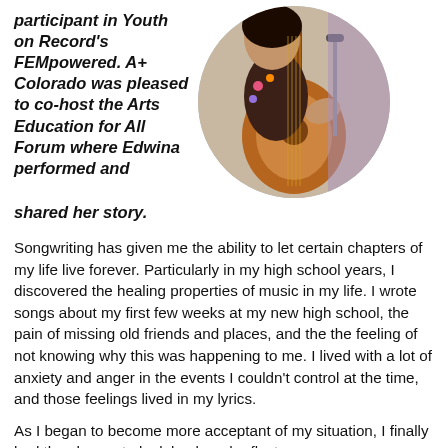participant in Youth on Record's FEMpowered. A+ Colorado was pleased to co-host the Arts Education for All Forum where Edwina performed and shared her story.
[Figure (photo): A young woman playing an acoustic guitar, shown in a circular cropped photo.]
Songwriting has given me the ability to let certain chapters of my life live forever. Particularly in my high school years, I discovered the healing properties of music in my life. I wrote songs about my first few weeks at my new high school, the pain of missing old friends and places, and the the feeling of not knowing why this was happening to me. I lived with a lot of anxiety and anger in the events I couldn't control at the time, and those feelings lived in my lyrics.
As I began to become more acceptant of my situation, I finally had the chance to look back and reflect on my